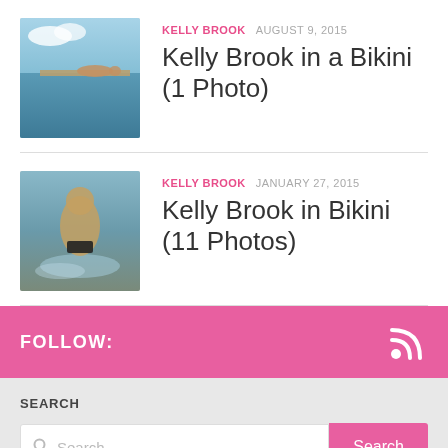[Figure (photo): Thumbnail of woman lying on a dock/pier by the ocean]
KELLY BROOK  AUGUST 9, 2015
Kelly Brook in a Bikini (1 Photo)
[Figure (photo): Thumbnail of woman in bikini standing near water]
KELLY BROOK  JANUARY 27, 2015
Kelly Brook in Bikini (11 Photos)
FOLLOW:
SEARCH
Search ...